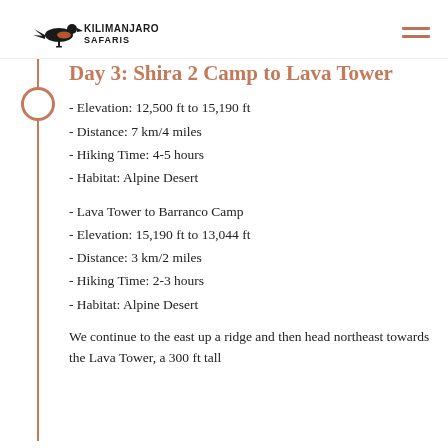[Figure (logo): Kilimanjaro Safaris logo with bird and company name]
Day 3: Shira 2 Camp to Lava Tower
- Elevation: 12,500 ft to 15,190 ft
- Distance: 7 km/4 miles
- Hiking Time: 4-5 hours
- Habitat: Alpine Desert
- Lava Tower to Barranco Camp
- Elevation: 15,190 ft to 13,044 ft
- Distance: 3 km/2 miles
- Hiking Time: 2-3 hours
- Habitat: Alpine Desert
We continue to the east up a ridge and then head northeast towards the Lava Tower, a 300 ft tall...